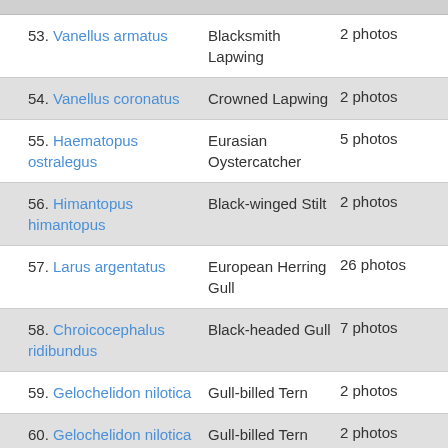53. Vanellus armatus — Blacksmith Lapwing — 2 photos
54. Vanellus coronatus — Crowned Lapwing — 2 photos
55. Haematopus ostralegus — Eurasian Oystercatcher — 5 photos
56. Himantopus himantopus — Black-winged Stilt — 2 photos
57. Larus argentatus — European Herring Gull — 26 photos
58. Chroicocephalus ridibundus — Black-headed Gull — 7 photos
59. Gelochelidon nilotica — Gull-billed Tern — 2 photos
60. Gelochelidon nilotica nilotica — Gull-billed Tern (nilotica) — 2 photos